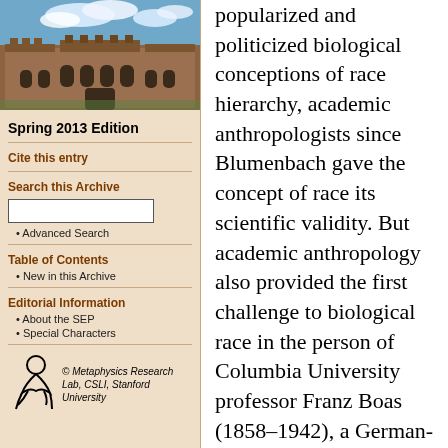[Figure (photo): Photograph of a historic university building with stone architecture and courtyard, blue sky with clouds]
Spring 2013 Edition
Cite this entry
Search this Archive
Advanced Search
Table of Contents
New in this Archive
Editorial Information
About the SEP
Special Characters
[Figure (logo): Metaphysics Research Lab, CSLI, Stanford University logo with stylized figure]
popularized and politicized biological conceptions of race hierarchy, academic anthropologists since Blumenbach gave the concept of race its scientific validity. But academic anthropology also provided the first challenge to biological race in the person of Columbia University professor Franz Boas (1858–1942), a German-born Jewish immigrant to the United States. Boas challenged the fixed character of racial groups by taking on one of the key fundaments to racial typology, cranium size. Boas showed that this characteristic was profoundly affected by environmental factors, so that...